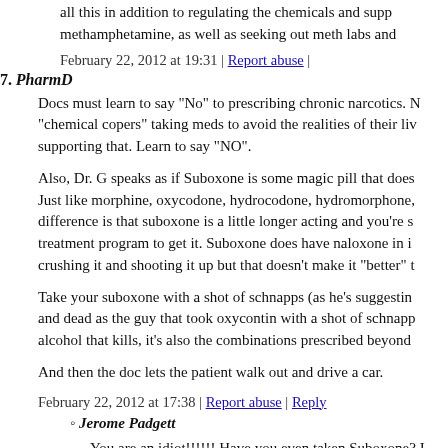all this in addition to regulating the chemicals and supp... methamphetamine, as well as seeking out meth labs and...
February 22, 2012 at 19:31 | Report abuse |
7. PharmD
Docs must learn to say "No" to prescribing chronic narcotics. N... "chemical copers" taking meds to avoid the realities of their liv... supporting that. Learn to say "NO".
Also, Dr. G speaks as if Suboxone is some magic pill that does... Just like morphine, oxycodone, hydrocodone, hydromorphone,... difference is that suboxone is a little longer acting and you're s... treatment program to get it. Suboxone does have naloxone in i... crushing it and shooting it up but that doesn't make it "better" t...
Take your suboxone with a shot of schnapps (as he's suggestin... and dead as the guy that took oxycontin with a shot of schnapp... alcohol that kills, it's also the combinations prescribed beyond...
And then the doc lets the patient walk out and drive a car.
February 22, 2012 at 17:38 | Report abuse | Reply
Jerome Padgett
You are an idiot!!!!!! Have you even taken Suboxone? I...